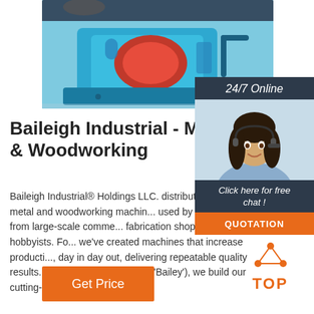[Figure (photo): Close-up photo of a blue metalworking machine (appears to be a grinder or ironworker) with red inner components, on a grey surface]
[Figure (photo): Customer service agent - woman with headset smiling, beside '24/7 Online' banner and 'Click here for free chat' panel with QUOTATION button]
Baileigh Industrial - Metalw & Woodworking
Baileigh Industrial® Holdings LLC. distributes manufactured metal and woodworking machinery used by customers ranging from large-scale commercial fabrication shops to passionate hobbyists. For... we've created machines that increase productivity, day in day out, delivering repeatable quality results.. At Baileigh (pronounced 'Bailey'), we build our cutting-edge ...
[Figure (logo): Orange 'TOP' badge with orange dot-triangle icon above text]
[Figure (other): Orange 'Get Price' button]